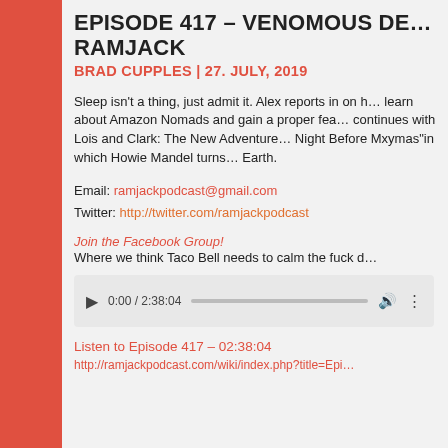EPISODE 417 – VENOMOUS DE… RAMJACK
BRAD CUPPLES | 27. JULY, 2019
Sleep isn't a thing, just admit it. Alex reports in on h… learn about Amazon Nomads and gain a proper fea… continues with Lois and Clark: The New Adventure… Night Before Mxymas"in which Howie Mandel turns… Earth.
Email: ramjackpodcast@gmail.com
Twitter: http://twitter.com/ramjackpodcast
Join the Facebook Group!
Where we think Taco Bell needs to calm the fuck d…
[Figure (screenshot): Audio player showing 0:00 / 2:38:04 with play button, progress bar, volume and more controls]
Listen to Episode 417 – 02:38:04
http://ramjackpodcast.com/wiki/index.php?title=Epi…